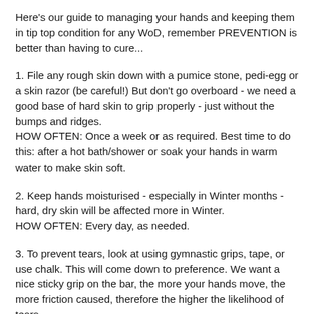Here's our guide to managing your hands and keeping them in tip top condition for any WoD, remember PREVENTION is better than having to cure...
1. File any rough skin down with a pumice stone, pedi-egg or a skin razor (be careful!) But don't go overboard - we need a good base of hard skin to grip properly - just without the bumps and ridges.
HOW OFTEN: Once a week or as required. Best time to do this: after a hot bath/shower or soak your hands in warm water to make skin soft.
2. Keep hands moisturised - especially in Winter months - hard, dry skin will be affected more in Winter.
HOW OFTEN: Every day, as needed.
3. To prevent tears, look at using gymnastic grips, tape, or use chalk. This will come down to preference. We want a nice sticky grip on the bar, the more your hands move, the more friction caused, therefore the higher the likelihood of tears.